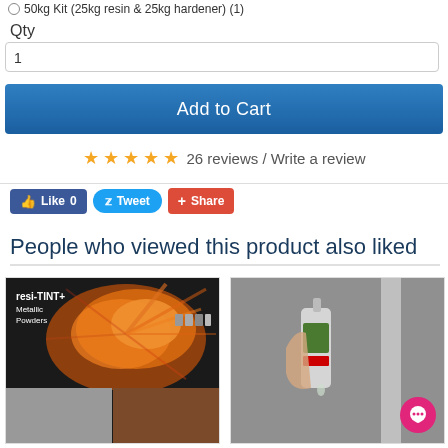50kg Kit (25kg resin & 25kg hardener) (1)
Qty
1
Add to Cart
26 reviews / Write a review
[Figure (screenshot): Social share buttons: Like 0 (Facebook), Tweet (Twitter), Share (Google+)]
People who viewed this product also liked
[Figure (photo): resi-TINT+ Metallic Powders product image with orange powder explosion and metallic surface swatches]
[Figure (photo): Hand squeezing a bottle or tube, with a pink chat bubble icon overlay]